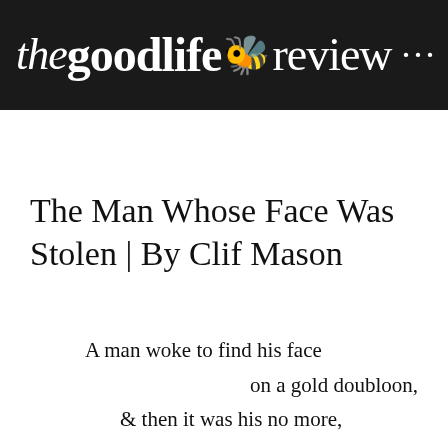the goodlife 🐝 review ...
The Man Whose Face Was Stolen | By Clif Mason
A man woke to find his face
    on a gold doubloon,
& then it was his no more,